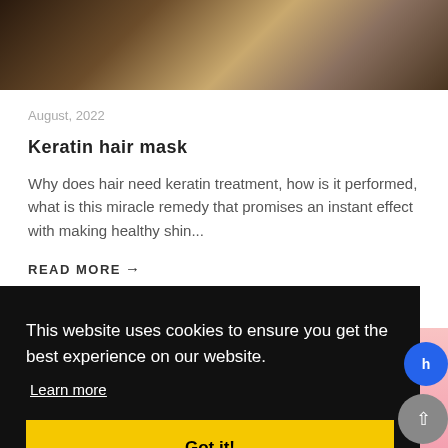[Figure (photo): Close-up photo of hair strands with brown and highlighted tones]
August, 2022
Keratin hair mask
Why does hair need keratin treatment, how is it performed, what is this miracle remedy that promises an instant effect with making healthy shin...
READ MORE→
This website uses cookies to ensure you get the best experience on our website.
Learn more
Got it!